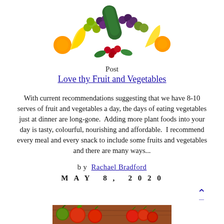[Figure (photo): Colorful assortment of fruits and vegetables arranged in a rainbow arc formation including oranges, grapes, bananas, cucumbers, and other produce against a white background]
Post
Love thy Fruit and Vegetables
With current recommendations suggesting that we have 8-10 serves of fruit and vegetables a day, the days of eating vegetables just at dinner are long-gone.  Adding more plant foods into your day is tasty, colourful, nourishing and affordable.  I recommend every meal and every snack to include some fruits and vegetables and there are many ways...
by Rachael Bradford
MAY 8, 2020
[Figure (photo): Red and green tomatoes on a wooden surface]